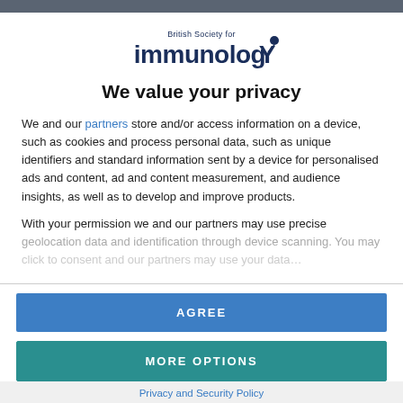[Figure (logo): British Society for Immunology logo with stylized 'immunologY' text and a circular dot above the Y]
We value your privacy
We and our partners store and/or access information on a device, such as cookies and process personal data, such as unique identifiers and standard information sent by a device for personalised ads and content, ad and content measurement, and audience insights, as well as to develop and improve products.
With your permission we and our partners may use precise geolocation data and identification through device scanning. You may click to consent and our partners may use your data...
AGREE
MORE OPTIONS
DISAGREE
Privacy and Security Policy